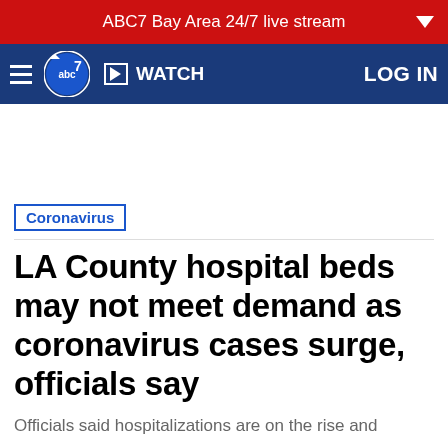ABC7 Bay Area 24/7 live stream
[Figure (logo): ABC7 navigation bar with hamburger menu, abc7 logo, WATCH button, and LOG IN link on navy blue background]
Coronavirus
LA County hospital beds may not meet demand as coronavirus cases surge, officials say
Officials said hospitalizations are on the rise and